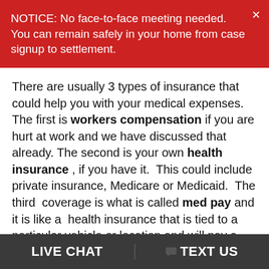NOTICE: No face-to-face meeting needed. You can remain safely in your home from case signup to settlement.
There are usually 3 types of insurance that could help you with your medical expenses. The first is workers compensation if you are hurt at work and we have discussed that already. The second is your own health insurance , if you have it. This could include private insurance, Medicare or Medicaid. The third coverage is what is called med pay and it is like a health insurance that is tied to a particular vehicle or location and will pay a limited amount of medical bills. Health care providers will want to use you med pay first because they will get more money that way. For your prot...
LIVE CHAT  |  TEXT US